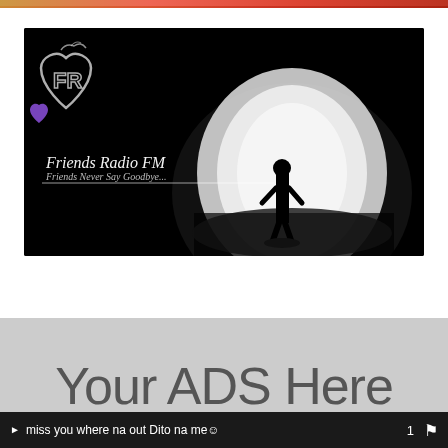[Figure (photo): Partial colored image strip at top of page, warm red/orange tones]
[Figure (logo): Friends Radio FM banner image on black background with heart/FR logo in white outline, purple heart accent, silhouette of person standing in front of large glowing white circle. Text reads: Friends Radio FM, Friends Never Say Goodbye...]
[Figure (photo): Gray advertisement section with large text 'Your ADS Here' partially visible]
miss you where na out Dito na me☺   1